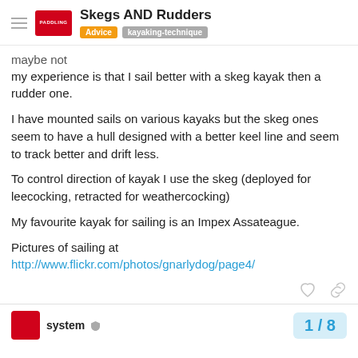Skegs AND Rudders | Advice | kayaking-technique
maybe not
my experience is that I sail better with a skeg kayak then a rudder one.
I have mounted sails on various kayaks but the skeg ones seem to have a hull designed with a better keel line and seem to track better and drift less.
To control direction of kayak I use the skeg (deployed for leecocking, retracted for weathercocking)
My favourite kayak for sailing is an Impex Assateague.
Pictures of sailing at
http://www.flickr.com/photos/gnarlydog/page4/
system  1 / 8